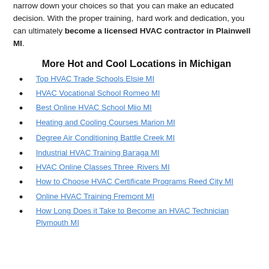narrow down your choices so that you can make an educated decision. With the proper training, hard work and dedication, you can ultimately become a licensed HVAC contractor in Plainwell MI.
More Hot and Cool Locations in Michigan
Top HVAC Trade Schools Elsie MI
HVAC Vocational School Romeo MI
Best Online HVAC School Mio MI
Heating and Cooling Courses Marion MI
Degree Air Conditioning Battle Creek MI
Industrial HVAC Training Baraga MI
HVAC Online Classes Three Rivers MI
How to Choose HVAC Certificate Programs Reed City MI
Online HVAC Training Fremont MI
How Long Does it Take to Become an HVAC Technician Plymouth MI